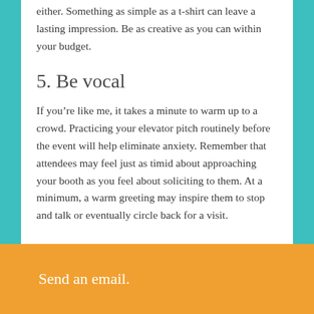either. Something as simple as a t-shirt can leave a lasting impression. Be as creative as you can within your budget.
5. Be vocal
If you're like me, it takes a minute to warm up to a crowd. Practicing your elevator pitch routinely before the event will help eliminate anxiety. Remember that attendees may feel just as timid about approaching your booth as you feel about soliciting to them. At a minimum, a warm greeting may inspire them to stop and talk or eventually circle back for a visit.
Send an email.